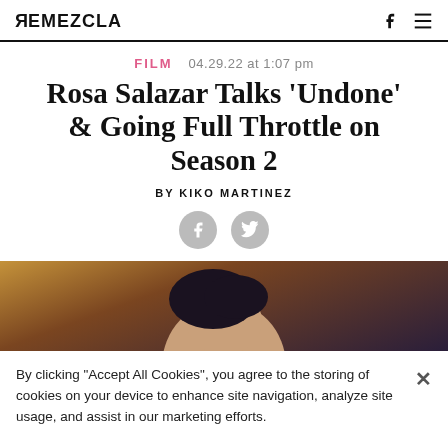REMEZCLA
FILM  04.29.22 at 1:07 pm
Rosa Salazar Talks 'Undone' & Going Full Throttle on Season 2
BY KIKO MARTINEZ
[Figure (other): Social share icons: Facebook and Twitter circular buttons]
[Figure (photo): Partial photo of a person with dark hair against a warm background]
By clicking "Accept All Cookies", you agree to the storing of cookies on your device to enhance site navigation, analyze site usage, and assist in our marketing efforts.